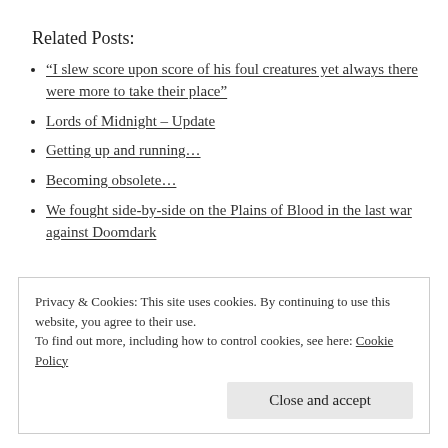Related Posts:
“I slew score upon score of his foul creatures yet always there were more to take their place”
Lords of Midnight – Update
Getting up and running…
Becoming obsolete…
We fought side-by-side on the Plains of Blood in the last war against Doomdark
Privacy & Cookies: This site uses cookies. By continuing to use this website, you agree to their use.
To find out more, including how to control cookies, see here: Cookie Policy